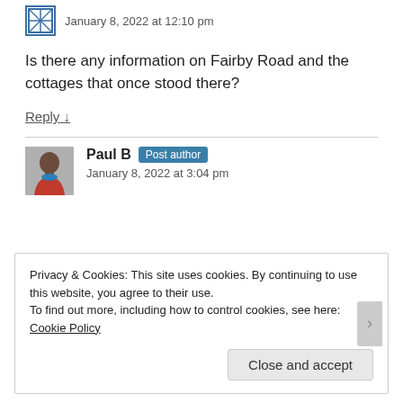January 8, 2022 at 12:10 pm
Is there any information on Fairby Road and the cottages that once stood there?
Reply ↓
Paul B  Post author
January 8, 2022 at 3:04 pm
Privacy & Cookies: This site uses cookies. By continuing to use this website, you agree to their use.
To find out more, including how to control cookies, see here: Cookie Policy